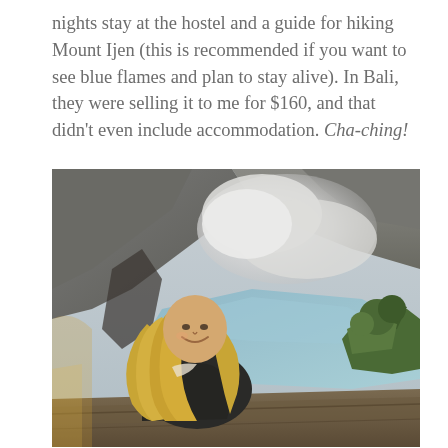nights stay at the hostel and a guide for hiking Mount Ijen (this is recommended if you want to see blue flames and plan to stay alive). In Bali, they were selling it to me for $160, and that didn't even include accommodation. Cha-ching!
[Figure (photo): A smiling blonde woman sitting at the rim of Mount Ijen volcano crater, with volcanic smoke and a turquoise blue-green acid lake visible in the background, along with rocky volcanic crater walls and some green shrubs.]